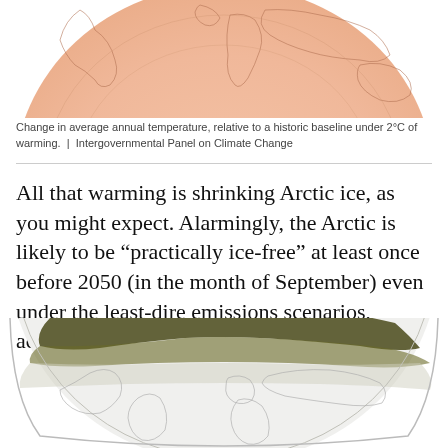[Figure (map): Top portion of a world globe map showing temperature change in average annual temperature, with warm pink/salmon coloring indicating warming, and continental outlines visible. The image is cropped showing roughly the upper hemisphere.]
Change in average annual temperature, relative to a historic baseline under 2°C of warming.  |  Intergovernmental Panel on Climate Change
All that warming is shrinking Arctic ice, as you might expect. Alarmingly, the Arctic is likely to be "practically ice-free" at least once before 2050 (in the month of September) even under the least-dire emissions scenarios, according to the IPCC report.
[Figure (map): Bottom portion of a world globe map showing Arctic sea ice extent, with dark olive/green coloring in the Arctic region indicating ice-free or reduced ice areas, and the rest of the globe shown in light gray/white with continental outlines. The top of the globe is visible with hatching patterns indicating sea ice.]